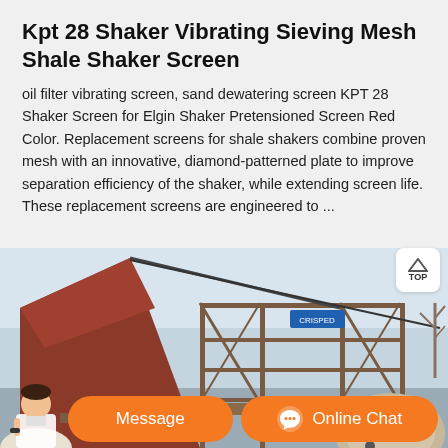Kpt 28 Shaker Vibrating Sieving Mesh Shale Shaker Screen
oil filter vibrating screen, sand dewatering screen KPT 28 Shaker Screen for Elgin Shaker Pretensioned Screen Red Color. Replacement screens for shale shakers combine proven mesh with an innovative, diamond-patterned plate to improve separation efficiency of the shaker, while extending screen life. These replacement screens are engineered to ...
[Figure (photo): Industrial shale shaker machine on an outdoor site, showing metal frame scaffolding, a large circular component, and a blue sign, against a grey sky with bare trees.]